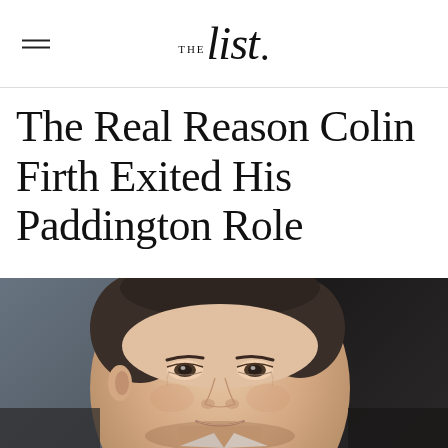THE List.
The Real Reason Colin Firth Exited His Paddington Role
[Figure (photo): Close-up photo of Colin Firth smiling slightly, wearing a white shirt, at what appears to be a formal event. Dark hair, light skin.]